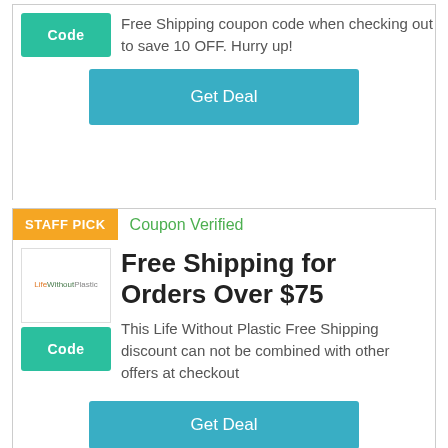Free Shipping coupon code when checking out to save 10 OFF. Hurry up!
Get Deal
STAFF PICK
Coupon Verified
Free Shipping for Orders Over $75
This Life Without Plastic Free Shipping discount can not be combined with other offers at checkout